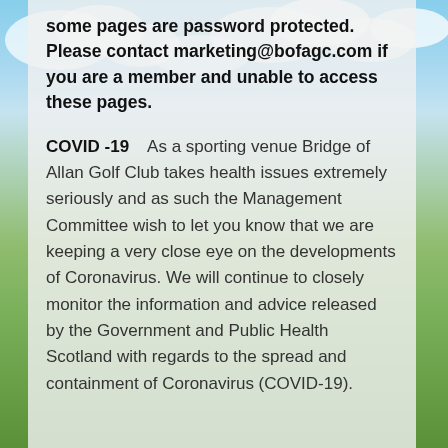some pages are password protected. Please contact marketing@bofagc.com if you are a member and unable to access these pages.
COVID -19    As a sporting venue Bridge of Allan Golf Club takes health issues extremely seriously and as such the Management Committee wish to let you know that we are keeping a very close eye on the developments of Coronavirus. We will continue to closely monitor the information and advice released by the Government and Public Health Scotland with regards to the spread and containment of Coronavirus (COVID-19).